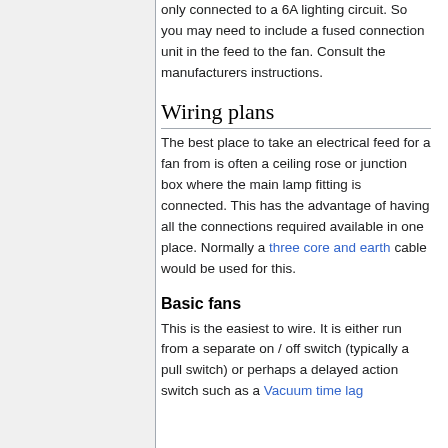only connected to a 6A lighting circuit. So you may need to include a fused connection unit in the feed to the fan. Consult the manufacturers instructions.
Wiring plans
The best place to take an electrical feed for a fan from is often a ceiling rose or junction box where the main lamp fitting is connected. This has the advantage of having all the connections required available in one place. Normally a three core and earth cable would be used for this.
Basic fans
This is the easiest to wire. It is either run from a separate on / off switch (typically a pull switch) or perhaps a delayed action switch such as a Vacuum time lag